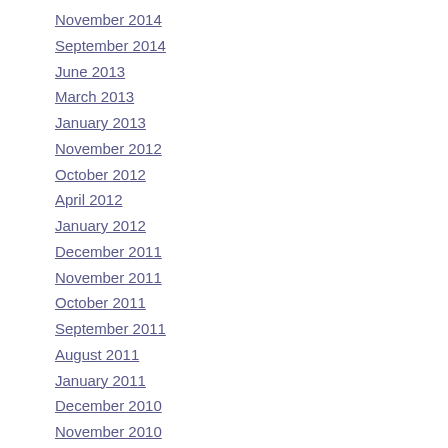November 2014
September 2014
June 2013
March 2013
January 2013
November 2012
October 2012
April 2012
January 2012
December 2011
November 2011
October 2011
September 2011
August 2011
January 2011
December 2010
November 2010
October 2010
September 2010